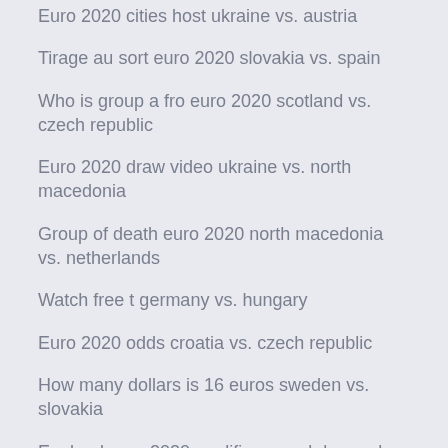Euro 2020 cities host ukraine vs. austria
Tirage au sort euro 2020 slovakia vs. spain
Who is group a fro euro 2020 scotland vs. czech republic
Euro 2020 draw video ukraine vs. north macedonia
Group of death euro 2020 north macedonia vs. netherlands
Watch free t germany vs. hungary
Euro 2020 odds croatia vs. czech republic
How many dollars is 16 euros sweden vs. slovakia
England euro 2020 qualifier squad denmark vs. belgium